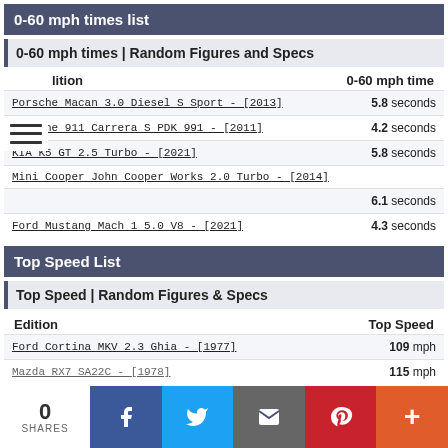0-60 mph times list
0-60 mph times | Random Figures and Specs
| Edition | 0-60 mph time |
| --- | --- |
| Porsche Macan 3.0 Diesel S Sport - [2013] | 5.8 seconds |
| Porsche 911 Carrera S PDK 991 - [2011] | 4.2 seconds |
| KIA K5 GT 2.5 Turbo - [2021] | 5.8 seconds |
| Mini Cooper John Cooper Works 2.0 Turbo - [2014] | 6.1 seconds |
| Ford Mustang Mach 1 5.0 V8 - [2021] | 4.3 seconds |
Top Speed List
Top Speed | Random Figures & Specs
| Edition | Top Speed |
| --- | --- |
| Ford Cortina MKV 2.3 Ghia - [1977] | 109 mph |
| Mazda RX7 SA22C - [1978] | 115 mph |
0 SHARES | Facebook | Twitter | Email | Pinterest | More